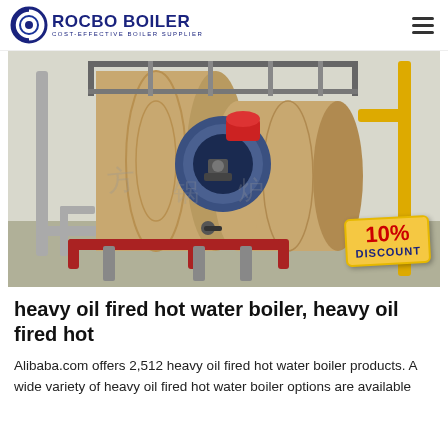ROCBO BOILER — COST-EFFECTIVE BOILER SUPPLIER
[Figure (photo): Industrial heavy oil fired hot water boiler in a factory setting. Large tan cylindrical boiler tanks with blue front burner assembly, red piping, metal scaffolding above. A 10% DISCOUNT badge is overlaid in the bottom-right corner.]
heavy oil fired hot water boiler, heavy oil fired hot
Alibaba.com offers 2,512 heavy oil fired hot water boiler products. A wide variety of heavy oil fired hot water boiler options are available